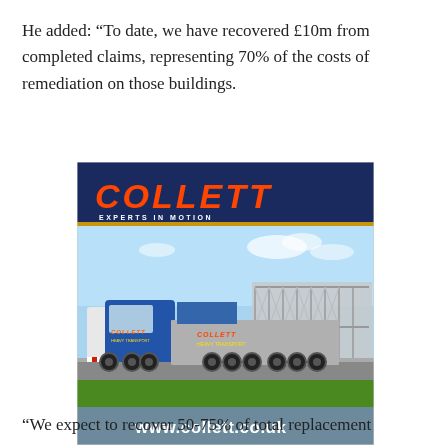He added: “To date, we have recovered £10m from completed claims, representing 70% of the costs of remediation on those buildings.
[Figure (photo): Advertisement for Collett heavy transport company showing a Collett-branded heavy haulage truck carrying a large steel bridge section on a low-loader trailer. The ad header shows 'COLLETT' in orange italic letters on a dark navy background with tagline 'EXPERTS IN MOTION'. The photo shows the truck on a road with green grass and blue sky. URL 'www.collett.co.uk' appears at the bottom of the image.]
“We expect to recover 50-75% of total replacement